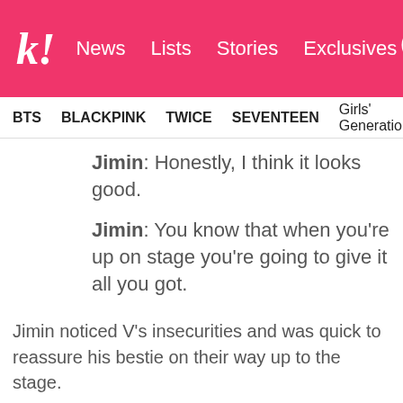k! News Lists Stories Exclusives
BTS  BLACKPINK  TWICE  SEVENTEEN  Girls' Generation
Jimin: Honestly, I think it looks good.
Jimin: You know that when you're up on stage you're going to give it all you got.
Jimin noticed V's insecurities and was quick to reassure his bestie on their way up to the stage.
Jimin: I think the fans will really like it.
It's obvious V was feeling unsure about his look